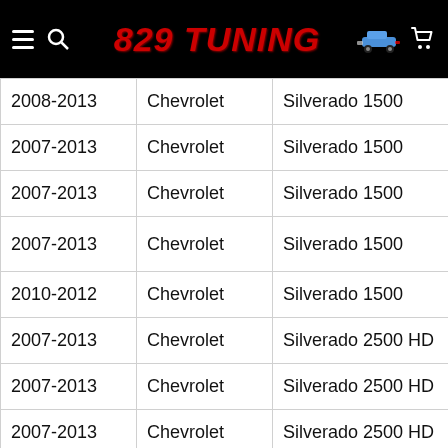829 TUNING
| Year | Make | Model | Trim |
| --- | --- | --- | --- |
| 2008-2013 | Chevrolet | Silverado 1500 | LS |
| 2007-2013 | Chevrolet | Silverado 1500 | LT |
| 2007-2013 | Chevrolet | Silverado 1500 | LTZ |
| 2007-2013 | Chevrolet | Silverado 1500 | [icon] |
| 2010-2012 | Chevrolet | Silverado 1500 | XFE |
| 2007-2013 | Chevrolet | Silverado 2500 HD | LT |
| 2007-2013 | Chevrolet | Silverado 2500 HD | LTZ |
| 2007-2013 | Chevrolet | Silverado 2500 HD | WT |